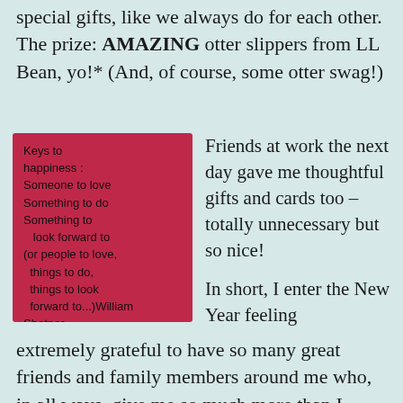special gifts, like we always do for each other. The prize: AMAZING otter slippers from LL Bean, yo!* (And, of course, some otter swag!)
[Figure (photo): A pink/red sticky note with handwritten text: 'Keys to happiness: Someone to love Something to do Something to look forward to (or people to love, things to do, things to look forward to...) William Shatner']
Friends at work the next day gave me thoughtful gifts and cards too – totally unnecessary but so nice!

In short, I enter the New Year feeling
extremely grateful to have so many great friends and family members around me who, in all ways, give me so much more than I could